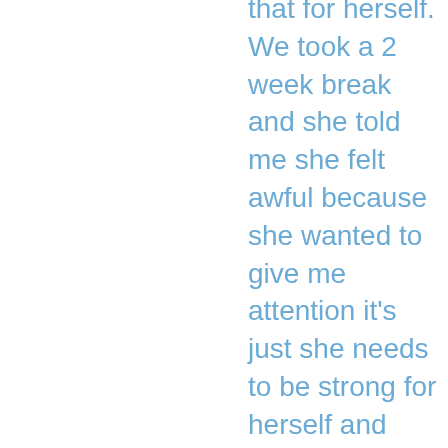that for herself. We took a 2 week break and she told me she felt awful because she wanted to give me attention it's just she needs to be strong for herself and show herself that she can be responsible. So she broke things off so she doesn't feel like I'm waiting on the sidelines for her. She also wants time for herself to do yoga and make new friends. Our breakup wasn't bad. We talked and talked and even had sex and took a last picture of us kissing before going our separate ways. She contacted me the next morning telling me she hopes work went good and we talked for a bit then the conversation ended and restarted again at night while we were both at work. She told me during the breakup that she felt uncomfortable in the relationship because when we argue or fight